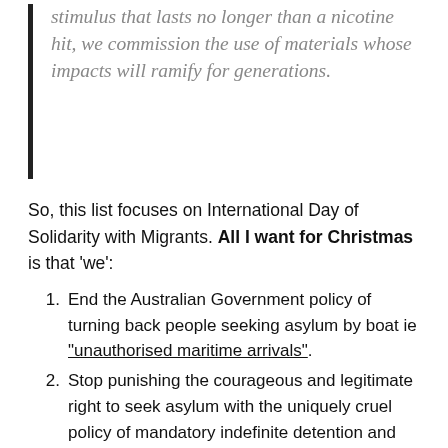stimulus that lasts no longer than a nicotine hit, we commission the use of materials whose impacts will ramify for generations.
So, this list focuses on International Day of Solidarity with Migrants. All I want for Christmas is that ‘we’:
End the Australian Government policy of turning back people seeking asylum by boat ie “unauthorised maritime arrivals”.
Stop punishing the courageous and legitimate right to seek asylum with the uniquely cruel policy of mandatory indefinite detention and offshore processing. Mandatory detention must end. It is highly distressing and has long-term consequences.
Remove children and adolescents from mandatory